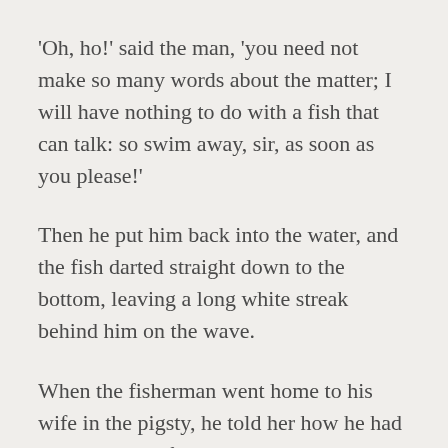'Oh, ho!' said the man, 'you need not make so many words about the matter; I will have nothing to do with a fish that can talk: so swim away, sir, as soon as you please!'
Then he put him back into the water, and the fish darted straight down to the bottom, leaving a long white streak behind him on the wave.
When the fisherman went home to his wife in the pigsty, he told her how he had caught a great fish, and how it had told him it was an enchanted prince, and how, on hearing it speak, he had let it go again.